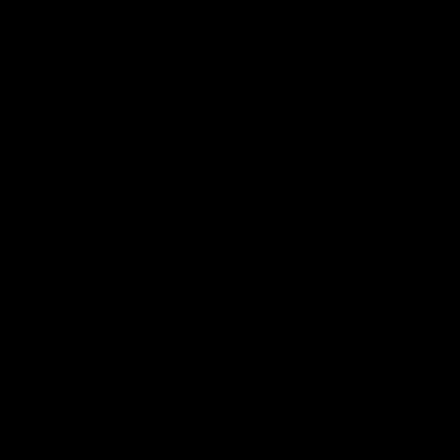[Figure (screenshot): Screenshot of a Pinterest-style card showing Schindler's Fabric Shop profile with a grid of fabric texture images. Left half of the page is black. The card shows a logo (dark rounded square with Schindler Fabric Shop branding), the shop name 'Schindler's F...' (truncated), and a 2-column grid of fabric photos: brown dotted fabric, brown floral fabric, green/black textured fabric, brown floral fabric, brown/tan speckled fabric, gold/green patterned fabric, and more fabric swatches.]